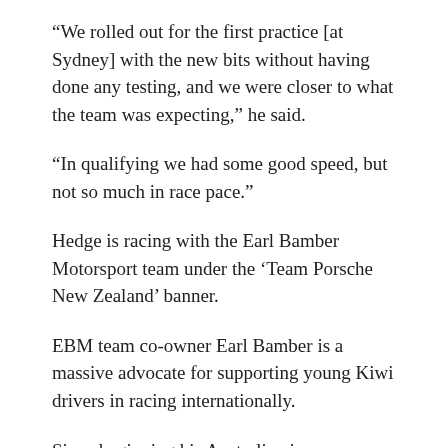“We rolled out for the first practice [at Sydney] with the new bits without having done any testing, and we were closer to what the team was expecting,” he said.
“In qualifying we had some good speed, but not so much in race pace.”
Hedge is racing with the Earl Bamber Motorsport team under the ‘Team Porsche New Zealand’ banner.
EBM team co-owner Earl Bamber is a massive advocate for supporting young Kiwi drivers in racing internationally.
Since beginning his Australian journey, Hedge has developed a strong relationship with Bamber. The two now frequently stay in touch during race meetings.
“You can text Earl at any hour, and you can expect a